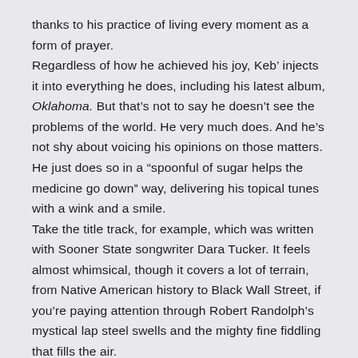thanks to his practice of living every moment as a form of prayer.
Regardless of how he achieved his joy, Keb' injects it into everything he does, including his latest album, Oklahoma. But that's not to say he doesn't see the problems of the world. He very much does. And he's not shy about voicing his opinions on those matters. He just does so in a "spoonful of sugar helps the medicine go down" way, delivering his topical tunes with a wink and a smile.
Take the title track, for example, which was written with Sooner State songwriter Dara Tucker. It feels almost whimsical, though it covers a lot of terrain, from Native American history to Black Wall Street, if you're paying attention through Robert Randolph's mystical lap steel swells and the mighty fine fiddling that fills the air.